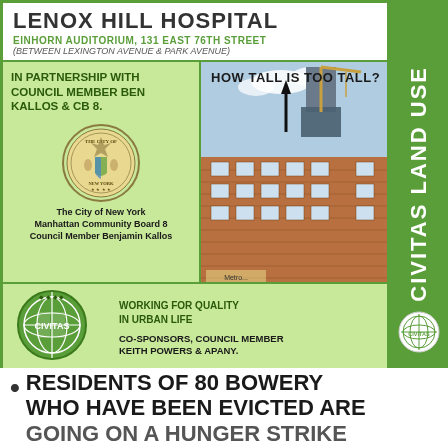LENOX HILL HOSPITAL
EINHORN AUDITORIUM, 131 EAST 76TH STREET
(BETWEEN LEXINGTON AVENUE & PARK AVENUE)
IN PARTNERSHIP WITH COUNCIL MEMBER BEN KALLOS & CB 8.
[Figure (logo): The City of New York seal / emblem]
The City of New York
Manhattan Community Board 8
Council Member Benjamin Kallos
HOW TALL IS TOO TALL?
[Figure (photo): Photo of a building under construction with a crane, arrow pointing up, and a brick building in foreground]
[Figure (logo): CIVITAS globe logo with text WORKING FOR QUALITY IN URBAN LIFE]
CO-SPONSORS, COUNCIL MEMBER KEITH POWERS & APANY.
CIVITAS LAND USE
RESIDENTS OF 80 BOWERY WHO HAVE BEEN EVICTED ARE GOING ON A HUNGER STRIKE